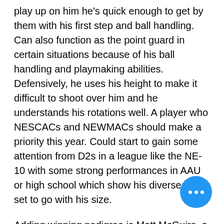play up on him he's quick enough to get by them with his first step and ball handling. Can also function as the point guard in certain situations because of his ball handling and playmaking abilities. Defensively, he uses his height to make it difficult to shoot over him and he understands his rotations well. A player who NESCACs and NEWMACs should make a priority this year. Could start to gain some attention from D2s in a league like the NE-10 with some strong performances in AAU or high school which show his diverse skill set to go with his size.
Adding winning pedigree is Matt McGuire, a 6'4 shooting guard from 2020 state champion Abington.